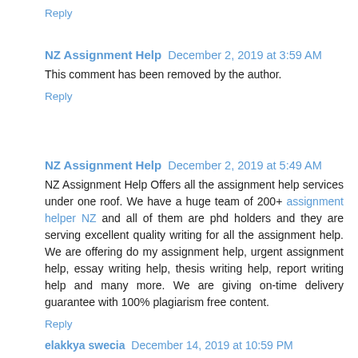Reply
NZ Assignment Help  December 2, 2019 at 3:59 AM
This comment has been removed by the author.
Reply
NZ Assignment Help  December 2, 2019 at 5:49 AM
NZ Assignment Help Offers all the assignment help services under one roof. We have a huge team of 200+ assignment helper NZ and all of them are phd holders and they are serving excellent quality writing for all the assignment help. We are offering do my assignment help, urgent assignment help, essay writing help, thesis writing help, report writing help and many more. We are giving on-time delivery guarantee with 100% plagiarism free content.
Reply
elakkya swecia  December 14, 2019 at 10:59 PM